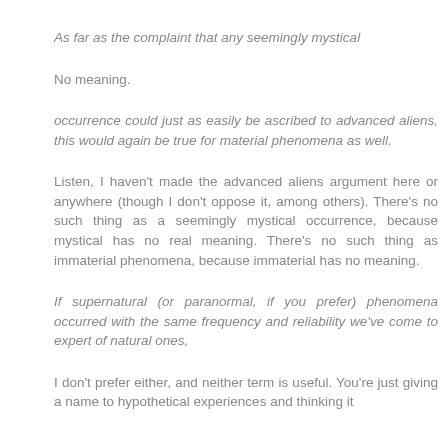As far as the complaint that any seemingly mystical
No meaning.
occurrence could just as easily be ascribed to advanced aliens, this would again be true for material phenomena as well.
Listen, I haven't made the advanced aliens argument here or anywhere (though I don't oppose it, among others). There's no such thing as a seemingly mystical occurrence, because mystical has no real meaning. There's no such thing as immaterial phenomena, because immaterial has no meaning.
If supernatural (or paranormal, if you prefer) phenomena occurred with the same frequency and reliability we've come to expert of natural ones,
I don't prefer either, and neither term is useful. You're just giving a name to hypothetical experiences and thinking it